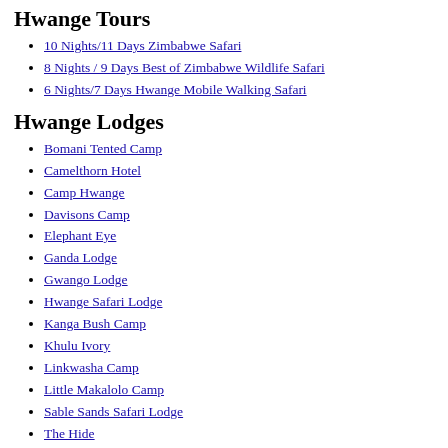Hwange Tours
10 Nights/11 Days Zimbabwe Safari
8 Nights / 9 Days Best of Zimbabwe Wildlife Safari
6 Nights/7 Days Hwange Mobile Walking Safari
Hwange Lodges
Bomani Tented Camp
Camelthorn Hotel
Camp Hwange
Davisons Camp
Elephant Eye
Ganda Lodge
Gwango Lodge
Hwange Safari Lodge
Kanga Bush Camp
Khulu Ivory
Linkwasha Camp
Little Makalolo Camp
Sable Sands Safari Lodge
The Hide
Tom’s Little Hide